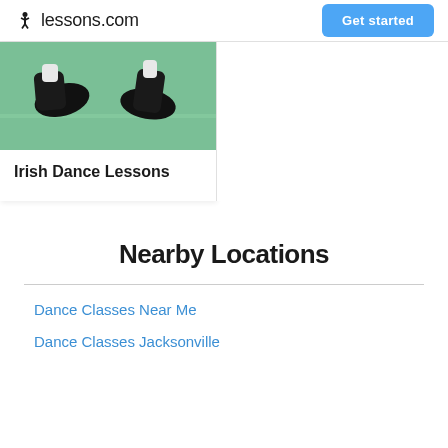lessons.com  Get started
[Figure (photo): Close-up photo of feet in black shoes dancing on a green floor, suggesting Irish dance.]
Irish Dance Lessons
Nearby Locations
Dance Classes Near Me
Dance Classes Jacksonville